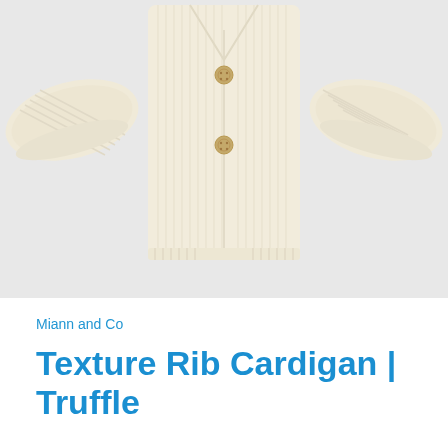[Figure (photo): A cream/off-white ribbed knit cardigan laid flat against a light grey background. The cardigan has three visible gold/tan buttons down the front center, a V-neckline, ribbed texture throughout, and long sleeves spread to the sides.]
Miann and Co
Texture Rib Cardigan | Truffle